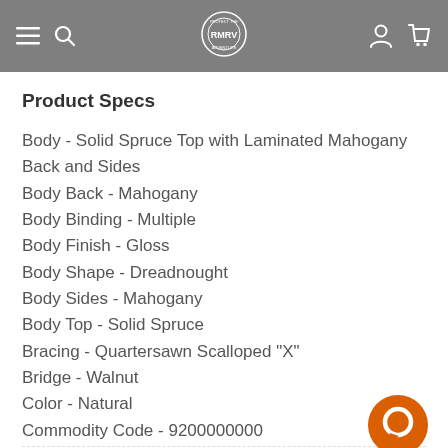RMRV (logo navigation header)
Product Specs
Body - Solid Spruce Top with Laminated Mahogany Back and Sides
Body Back - Mahogany
Body Binding - Multiple
Body Finish - Gloss
Body Shape - Dreadnought
Body Sides - Mahogany
Body Top - Solid Spruce
Bracing - Quartersawn Scalloped "X"
Bridge - Walnut
Color - Natural
Commodity Code - 9200000000